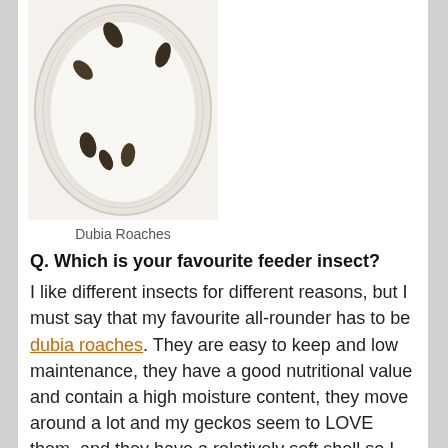[Figure (photo): Overhead view of dubia roaches in a white round plastic container/dish, photographed from above against a light background.]
Dubia Roaches
Q. Which is your favourite feeder insect? I like different insects for different reasons, but I must say that my favourite all-rounder has to be dubia roaches. They are easy to keep and low maintenance, they have a good nutritional value and contain a high moisture content, they move around a lot and my geckos seem to LOVE them, and they have a relatively soft shell so I don't